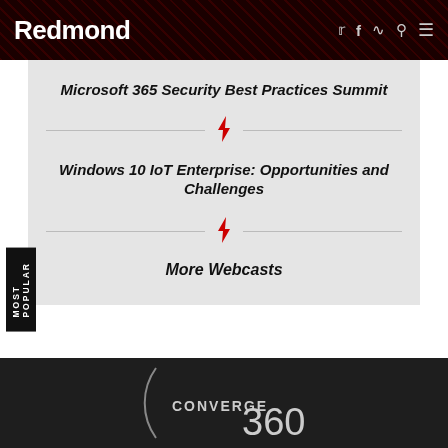Redmond
Microsoft 365 Security Best Practices Summit
Windows 10 IoT Enterprise: Opportunities and Challenges
More Webcasts
[Figure (logo): Converge 360 logo on dark background with circular arc graphic]